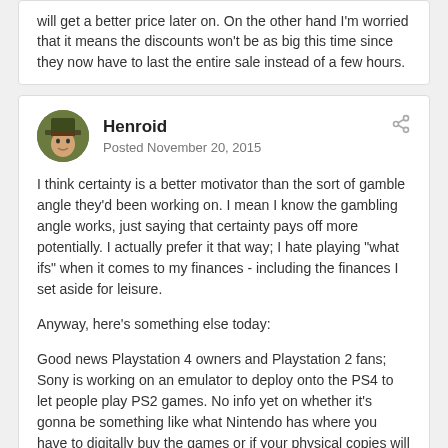will get a better price later on. On the other hand I'm worried that it means the discounts won't be as big this time since they now have to last the entire sale instead of a few hours.
Henroid
Posted November 20, 2015
I think certainty is a better motivator than the sort of gamble angle they'd been working on. I mean I know the gambling angle works, just saying that certainty pays off more potentially. I actually prefer it that way; I hate playing "what ifs" when it comes to my finances - including the finances I set aside for leisure.
Anyway, here's something else today:
Good news Playstation 4 owners and Playstation 2 fans; Sony is working on an emulator to deploy onto the PS4 to let people play PS2 games. No info yet on whether it's gonna be something like what Nintendo has where you have to digitally buy the games or if your physical copies will be read. Gives me something to look forward to.